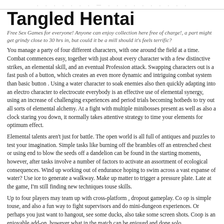. . . . . . . . . — . . . . . . . . . .
Tangled Hentai
Free Sex Games for everyone! Anyone can enjoy collection here free of charge!, a part might get grindy close to 30 hrs in, but could it be a mill should it's feels terrific?
You manage a party of four different characters, with one around the field at a time. Combat commences easy, together with just about every character with a few distinctive strikes, an elemental skill, and an eventual Profession attack. Swapping characters out is a fast push of a button, which creates an even more dynamic and intriguing combat system than basic button . Using a water character to soak enemies also then quickly adapting into an electro character to electrocute everybody is an effective use of elemental synergy, using an increase of challenging experiences and period trials becoming hotbeds to try out all sorts of elemental alchemy. At a fight with multiple minibosses present as well as also a clock staring you down, it normally takes attentive strategy to time your elements for optimum effect.
Elemental talents aren't just for battle. The open world is all full of antiques and puzzles to test your imagination. Simple tasks like burning off the brambles off an entrenched chest or using end to blow the seeds off a dandelion can be found in the starting moments, however, after tasks involve a number of factors to activate an assortment of ecological consequences. Wind up working out of endurance hoping to swim across a vast expanse of water? Use ice to generate a walkway. Make up matter to trigger a pressure plate. Late at the game, I'm still finding new techniques touse skills.
Up to four players may team up with cross-platform , dropout gameplay. Co op is simple touse, and also a fun way to fight supervisors and do mini-dungeon experiences. Or perhaps you just want to hangout, see some ducks, also take some screen shots. Coop is an enjoyable add-on, however what in the match can be enjoyed and done solo.
My main reservation about overwatch porngame is that the monetization model, which is organized in a manner that cell gamers are familiar with. At the West, we are able to liken the"gachapon" process to loot boxes. However, these loot boxes aren't merely for cosmetic hats; they truly are for playable characters and weapons that are amazing.